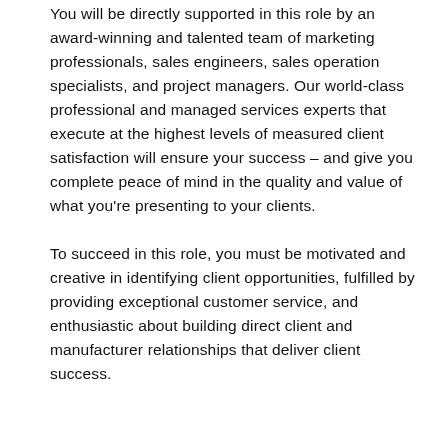You will be directly supported in this role by an award-winning and talented team of marketing professionals, sales engineers, sales operation specialists, and project managers. Our world-class professional and managed services experts that execute at the highest levels of measured client satisfaction will ensure your success – and give you complete peace of mind in the quality and value of what you're presenting to your clients.
To succeed in this role, you must be motivated and creative in identifying client opportunities, fulfilled by providing exceptional customer service, and enthusiastic about building direct client and manufacturer relationships that deliver client success.